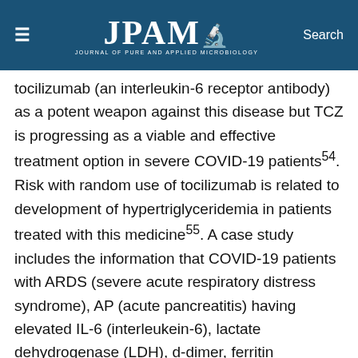JPAM — Journal of Pure and Applied Microbiology
tocilizumab (an interleukin-6 receptor antibody) as a potent weapon against this disease but TCZ is progressing as a viable and effective treatment option in severe COVID-19 patients⁵⁴. Risk with random use of tocilizumab is related to development of hypertriglyceridemia in patients treated with this medicine⁵⁵. A case study includes the information that COVID-19 patients with ARDS (severe acute respiratory distress syndrome), AP (acute pancreatitis) having elevated IL-6 (interleukein-6), lactate dehydrogenase (LDH), d-dimer, ferritin (inflammatory markers) received TCZ treatment along with lopinavir/ritonavir, ribavirin, hydroxychloroquine, propofol as sedative and triglyceride levels increase. It was obvious that TCZ is